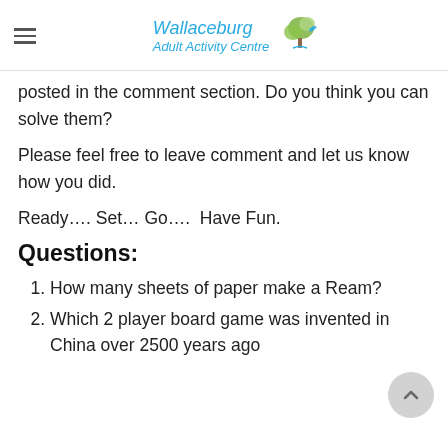Wallaceburg Adult Activity Centre
posted in the comment section. Do you think you can solve them?
Please feel free to leave comment and let us know how you did.
Ready…. Set… Go…..  Have Fun.
Questions:
How many sheets of paper make a Ream?
Which 2 player board game was invented in China over 2500 years ago